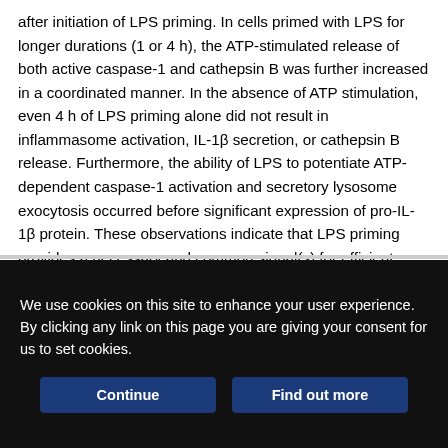after initiation of LPS priming. In cells primed with LPS for longer durations (1 or 4 h), the ATP-stimulated release of both active caspase-1 and cathepsin B was further increased in a coordinated manner. In the absence of ATP stimulation, even 4 h of LPS priming alone did not result in inflammasome activation, IL-1β secretion, or cathepsin B release. Furthermore, the ability of LPS to potentiate ATP-dependent caspase-1 activation and secretory lysosome exocytosis occurred before significant expression of pro-IL-1β protein. These observations indicate that LPS priming provides a necessary and common signal(s) for efficient coupling of P2X7R to exocytosis of secretory lysosomes as well as inflammasome activation.
We use cookies on this site to enhance your user experience. By clicking any link on this page you are giving your consent for us to set cookies.